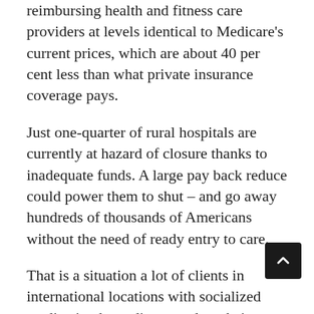reimbursing health and fitness care providers at levels identical to Medicare's current prices, which are about 40 per cent less than what private insurance coverage pays.
Just one-quarter of rural hospitals are currently at hazard of closure thanks to inadequate funds. A large pay back reduce could power them to shut – and go away hundreds of thousands of Americans without the need of ready entry to care.
That is a situation a lot of clients in international locations with socialized medication have discovered on their own in. Their well being care systems will not have enough capacity to tackle a health and fitness crisis like COVID-19. Italy has just above intense-care device beds per 100,000 people today. The United Kingdom has less than seven per